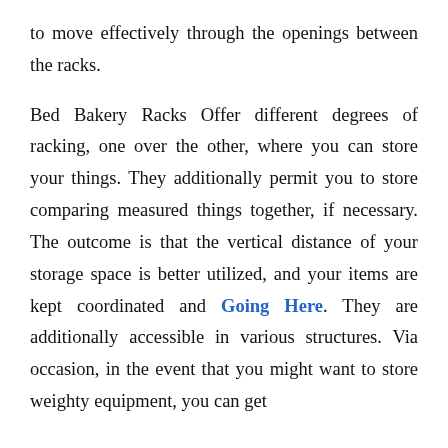to move effectively through the openings between the racks.

Bed Bakery Racks Offer different degrees of racking, one over the other, where you can store your things. They additionally permit you to store comparing measured things together, if necessary. The outcome is that the vertical distance of your storage space is better utilized, and your items are kept coordinated and Going Here. They are additionally accessible in various structures. Via occasion, in the event that you might want to store weighty equipment, you can get